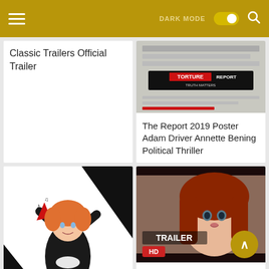DARK MODE [toggle] [search]
Classic Trailers Official Trailer
[Figure (screenshot): The Report 2019 movie poster thumbnail showing 'THE TORTURE REPORT - TRUTH MATTERS' text]
The Report 2019 Poster Adam Driver Annette Bening Political Thriller
[Figure (illustration): Anime-style illustration of a female character with orange hair, wearing black armored suit with red accents, hands raised, black and white geometric background]
Back When The Trailer
[Figure (screenshot): Movie trailer screenshot showing a young woman with long red hair, with 'TRAILER HD' text overlay]
Ginger And Rosa Trailer 2012 Streaming Movies Free Full Movies Online Free Moving Pictures